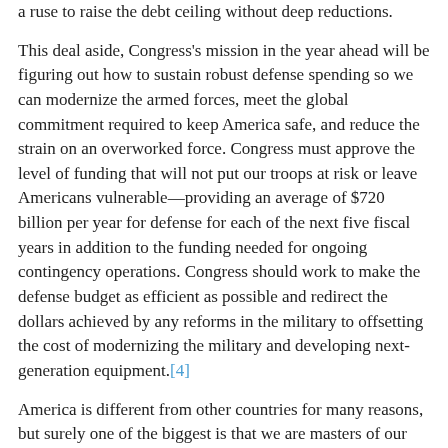a ruse to raise the debt ceiling without deep reductions.
This deal aside, Congress's mission in the year ahead will be figuring out how to sustain robust defense spending so we can modernize the armed forces, meet the global commitment required to keep America safe, and reduce the strain on an overworked force. Congress must approve the level of funding that will not put our troops at risk or leave Americans vulnerable—providing an average of $720 billion per year for defense for each of the next five fiscal years in addition to the funding needed for ongoing contingency operations. Congress should work to make the defense budget as efficient as possible and redirect the dollars achieved by any reforms in the military to offsetting the cost of modernizing the military and developing next-generation equipment.[4]
America is different from other countries for many reasons, but surely one of the biggest is that we are masters of our fate. We are fortunate to have an armed force that not only defends us but also keeps us from being at the mercy of other countries, many of whom wish us ill.
If Americans do not wake up soon and see what is at stake, we will surely lose that mastery and, with it, our most cherished freedom.
Kim R. Holmes, Ph.D., is Vice President for Foreign and